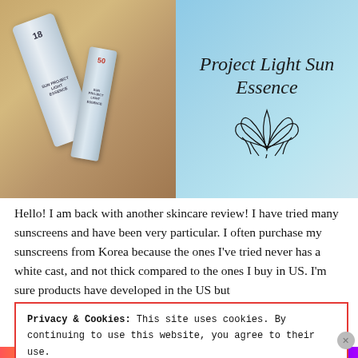[Figure (photo): Product photo of Project Light Sun Essence sunscreen tubes on a wooden surface, with a light blue background panel showing the product name in italic script and a lotus flower illustration]
Hello! I am back with another skincare review! I have tried many sunscreens and have been very particular. I often purchase my sunscreens from Korea because the ones I've tried never has a white cast, and not thick compared to the ones I buy in US. I'm sure products have developed in the US but
Privacy & Cookies: This site uses cookies. By continuing to use this website, you agree to their use.
To find out more, including how to control cookies, see here: Cookie Policy
Close and accept